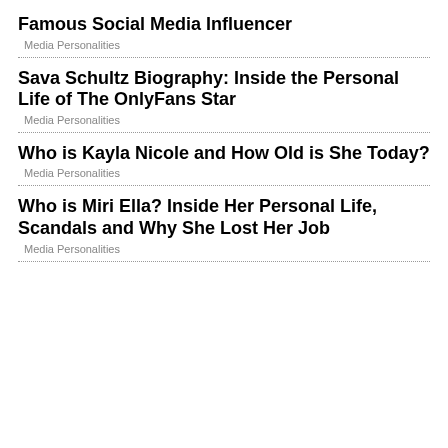Famous Social Media Influencer
Media Personalities
Sava Schultz Biography: Inside the Personal Life of The OnlyFans Star
Media Personalities
Who is Kayla Nicole and How Old is She Today?
Media Personalities
Who is Miri Ella? Inside Her Personal Life, Scandals and Why She Lost Her Job
Media Personalities